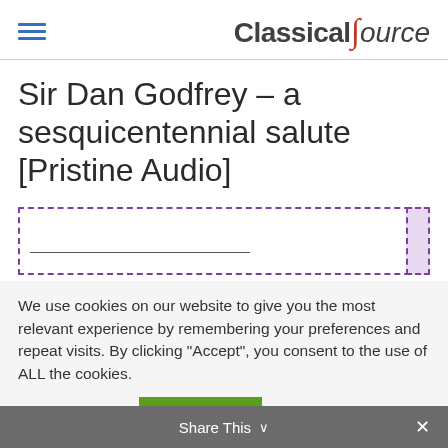Classical Source
Sir Dan Godfrey – a sesquicentennial salute [Pristine Audio]
[Figure (other): Advertisement placeholder with dashed purple border]
We use cookies on our website to give you the most relevant experience by remembering your preferences and repeat visits. By clicking "Accept", you consent to the use of ALL the cookies.
Cookie settings   ACCEPT
Share This